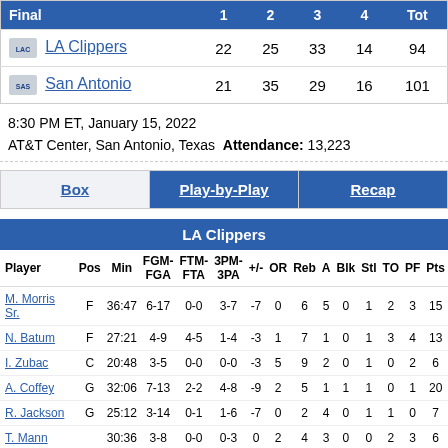| Final | 1 | 2 | 3 | 4 | Tot |
| --- | --- | --- | --- | --- | --- |
| LA Clippers | 22 | 25 | 33 | 14 | 94 |
| San Antonio | 21 | 35 | 29 | 16 | 101 |
8:30 PM ET, January 15, 2022
AT&T Center, San Antonio, Texas  Attendance: 13,223
| Box | Play-by-Play | Recap |
| --- | --- | --- |
| Player | Pos | Min | FGM-FGA | FTM-FTA | 3PM-3PA | +/- | OR | Reb | A | Blk | Stl | TO | PF | Pts |
| --- | --- | --- | --- | --- | --- | --- | --- | --- | --- | --- | --- | --- | --- | --- |
| M. Morris Sr. | F | 36:47 | 6-17 | 0-0 | 3-7 | -7 | 0 | 6 | 5 | 0 | 1 | 2 | 3 | 15 |
| N. Batum | F | 27:21 | 4-9 | 4-5 | 1-4 | -3 | 1 | 7 | 1 | 0 | 1 | 3 | 4 | 13 |
| I. Zubac | C | 20:48 | 3-5 | 0-0 | 0-0 | -3 | 5 | 9 | 2 | 0 | 1 | 0 | 2 | 6 |
| A. Coffey | G | 32:06 | 7-13 | 2-2 | 4-8 | -9 | 2 | 5 | 1 | 1 | 1 | 0 | 1 | 20 |
| R. Jackson | G | 25:12 | 3-14 | 0-1 | 1-6 | -7 | 0 | 2 | 4 | 0 | 1 | 1 | 0 | 7 |
| T. Mann |  | 30:36 | 3-8 | 0-0 | 0-3 | 0 | 2 | 4 | 3 | 0 | 0 | 2 | 3 | 6 |